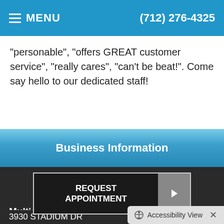MENU  (712) 276-4325
"personable", "offers GREAT customer service", "really cares", "can't be beat!". Come say hello to our dedicated staff!
Business Information
[Figure (other): REQUEST APPOINTMENT button with arrow]
Multicare Health Clinic
3930 STADIUM DR
SIOUX CITY, IA 5110...